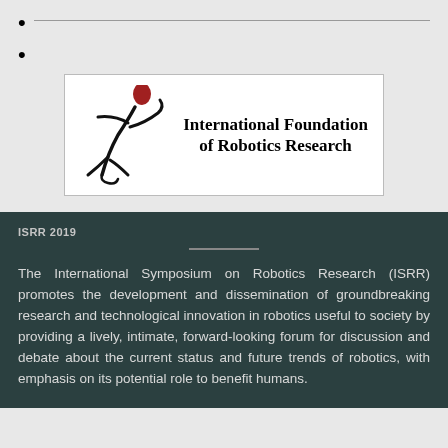[Figure (logo): International Foundation of Robotics Research logo with stylized running figure and text]
ISRR 2019
The International Symposium on Robotics Research (ISRR) promotes the development and dissemination of groundbreaking research and technological innovation in robotics useful to society by providing a lively, intimate, forward-looking forum for discussion and debate about the current status and future trends of robotics, with emphasis on its potential role to benefit humans.